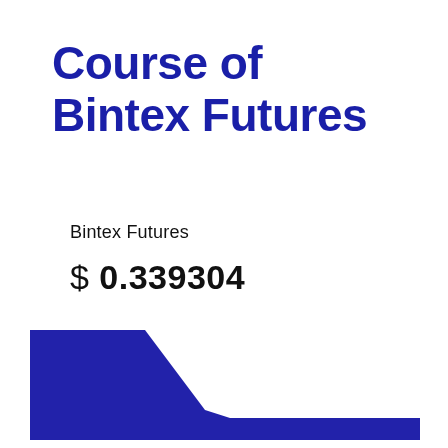Course of Bintex Futures
Bintex Futures
$ 0.339304
[Figure (area-chart): Area chart showing the course/price history of Bintex Futures. The chart shows a high flat level on the left that drops steeply down to a very low level in the middle-right, then remains flat at the bottom. The area is filled with dark navy/dark blue color.]